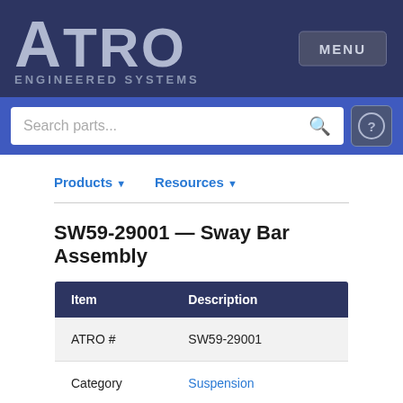[Figure (logo): ATRO Engineered Systems logo in white/grey on dark navy header background]
[Figure (screenshot): MENU button top right of header]
[Figure (screenshot): Search parts... input bar with search icon and help (?) button on blue background]
Products ▾   Resources ▾
SW59-29001 — Sway Bar Assembly
| Item | Description |
| --- | --- |
| ATRO # | SW59-29001 |
| Category | Suspension |